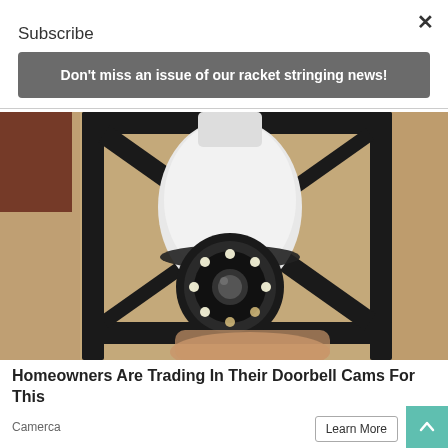Subscribe
Don't miss an issue of our racket stringing news!
[Figure (photo): A white security camera shaped like a light bulb with LED ring, mounted in a black metal outdoor light fixture against a textured stone/stucco wall. A hand is visible holding the device.]
Homeowners Are Trading In Their Doorbell Cams For This
Camerca
Learn More